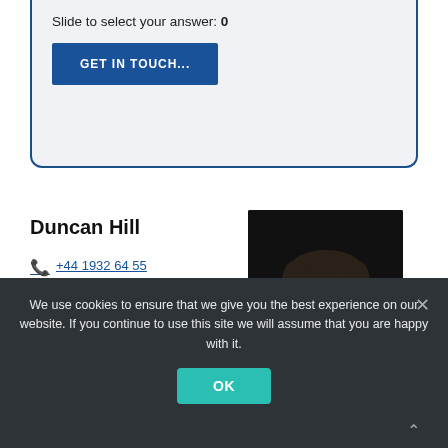Slide to select your answer: 0
GET IN TOUCH...
Duncan Hill
+44 1932 64 55 60
@
[Figure (photo): Headshot of Duncan Hill, a man with dark beard and short hair, wearing a light blue shirt, against a dark background]
We use cookies to ensure that we give you the best experience on our website. If you continue to use this site we will assume that you are happy with it.
OK